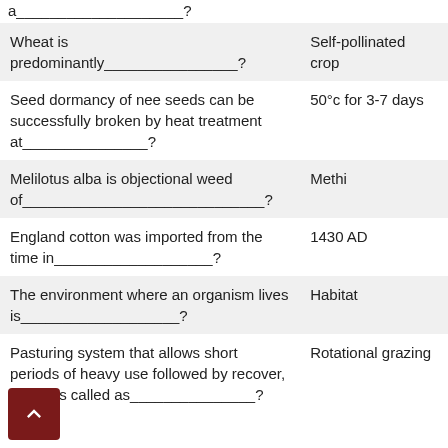a___________________?
| Question | Answer |
| --- | --- |
| Wheat is predominantly_______________? | Self-pollinated crop |
| Seed dormancy of nee seeds can be successfully broken by heat treatment at________________? | 50°c for 3-7 days |
| Melilotus alba is objectional weed of______________________________? | Methi |
| England cotton was imported from the time in____________________? | 1430 AD |
| The environment where an organism lives is____________________? | Habitat |
| Pasturing system that allows short periods of heavy use followed by recover, period is called as________________? | Rotational grazing |